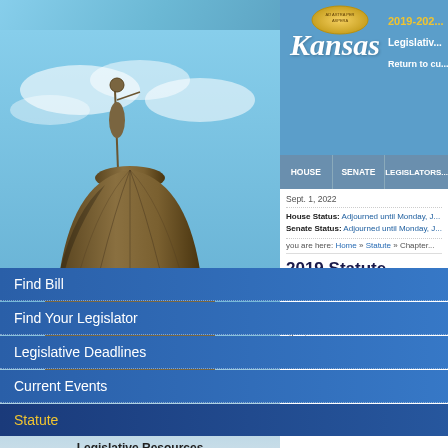[Figure (screenshot): Kansas Legislative website screenshot showing the Kansas state capitol dome on the left with blue sky background, navigation menu items (Find Bill, Find Your Legislator, Legislative Deadlines, Current Events, Statute), Legislative Resources links, and on the right: 2019-2022 Kansas Legislative header, navigation bar (HOUSE, SENATE, LEGISLATORS), date Sept. 1 2022, House/Senate Status lines, breadcrumb navigation, 2019 Statute heading, and statute text for 50-723 Security freeze]
2019-2022 Kansas Legislative
Return to cu...
HOUSE   SENATE   LEGISLATORS
Sept. 1, 2022
House Status: Adjourned until Monday, J...
Senate Status: Adjourned until Monday, J...
you are here:  Home » Statute » Chapter...
2019 Statute
Prev                                          A...
Find Bill
Find Your Legislator
Legislative Deadlines
Current Events
Statute
Legislative Resources
Administrative Services
Division of Post Audit
Information Services
Research Department
50-723.  Security freeze on the consumer's consumer report m... place a security freeze on the... through a secure website if m... agency does not have an ava... consumer's consumer report m...
(1)   A request provided by th...